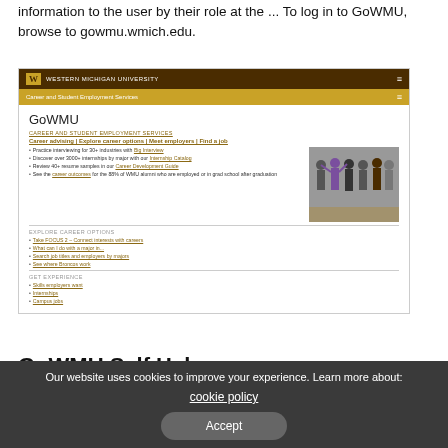information to the user by their role at the ... To log in to GoWMU, browse to gowmu.wmich.edu.
[Figure (screenshot): Screenshot of Western Michigan University GoWMU Career and Student Employment Services portal page showing navigation links for Career advising, Explore career options, Meet employers, Find a job, with bullet points listing resources and a photo of students.]
GoWMU Self Help
Our website uses cookies to improve your experience. Learn more about: cookie policy  Accept